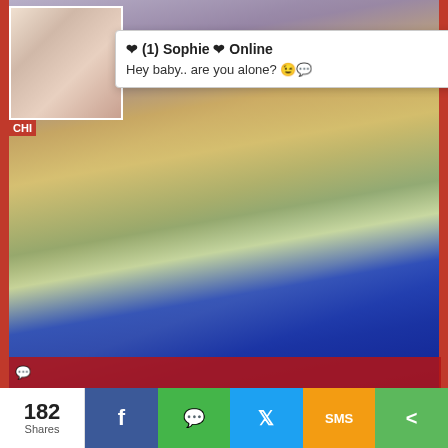[Figure (screenshot): Webpage screenshot showing a notification popup overlay on an adult content page with a social sharing bar at the bottom]
❤ (1) Sophie ❤ Online
Hey baby.. are you alone? 😉💬
182 Shares